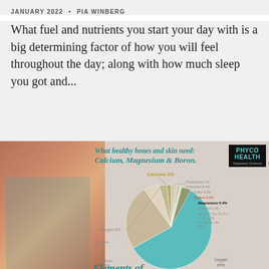JANUARY 2022  •  PIA WINBERG
What fuel and nutrients you start your day with is a big determining factor of how you will feel throughout the day; along with how much sleep you got and...
[Figure (infographic): Infographic titled 'What healthy bones and skin need: Calcium, Magnesium & Boron.' showing a pie chart of body elements including Oxygen 65%, Carbon 18%, Hydrogen 10%, Nitrogen 3%, Calcium 2%, Phosphorus 1%, Potassium 0.4%, Sulfur 0.3%, Sodium 0.2%, Magnesium 0.2%, Chlorine 0.1%, Boron and other trace elements 0.1%. Background shows a woman with visible bone structure. PhycoHealth Seaweed Science logo in top right. 'Elements of' text visible at bottom.]